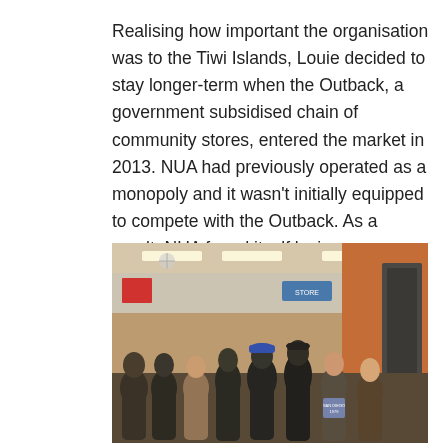Realising how important the organisation was to the Tiwi Islands, Louie decided to stay longer-term when the Outback, a government subsidised chain of community stores, entered the market in 2013. NUA had previously operated as a monopoly and it wasn't initially equipped to compete with the Outback. As a result, NUA found itself losing money quickly and in a very precarious situation.
[Figure (photo): Group photo of approximately 8 people standing together inside what appears to be a community store or warehouse with orange and industrial interior. People are smiling at the camera.]